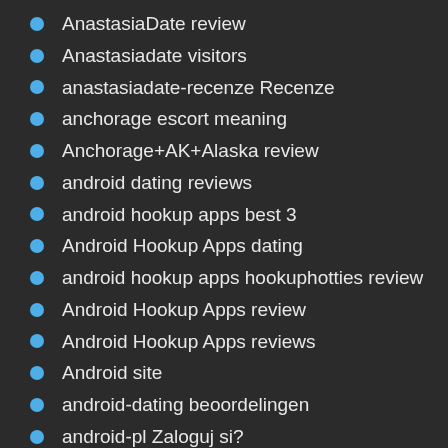AnastasiaDate review
Anastasiadate visitors
anastasiadate-recenze Recenze
anchorage escort meaning
Anchorage+AK+Alaska review
android dating reviews
android hookup apps best 3
Android Hookup Apps dating
android hookup apps hookuphotties review
Android Hookup Apps review
Android Hookup Apps reviews
Android site
android-dating beoordelingen
android-pl Zaloguj si?
Angelreturn meetic site